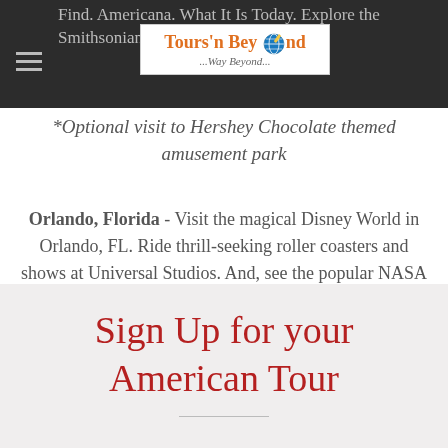[Figure (logo): Tours'n Beyond logo with globe icon and tagline '...Way Beyond...' on white background]
*Optional visit to Hershey Chocolate themed amusement park
Orlando, Florida - Visit the magical Disney World in Orlando, FL. Ride thrill-seeking roller coasters and shows at Universal Studios. And, see the popular NASA sites nearby! (4 Nights)
Sign Up for your American Tour